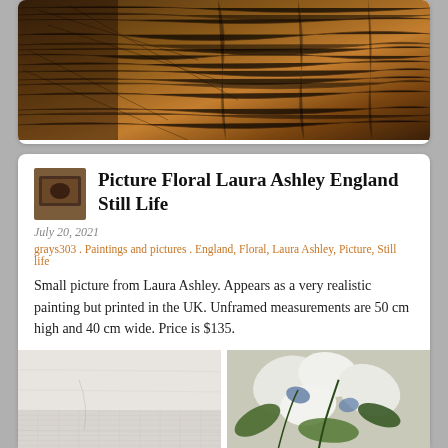[Figure (photo): Close-up photo of dark scratched wood grain texture, brown and black tones]
Picture Floral Laura Ashley England Still Life
July 20, 2021
grays303 . Paintings and pictures . England, Floral, Laura Ashley, Picture, Still life
Small picture from Laura Ashley. Appears as a very realistic painting but printed in the UK. Unframed measurements are 50 cm high and 40 cm wide. Price is $135.
[Figure (photo): Light grey/white background, plain surface]
[Figure (photo): Close-up of a floral painting showing white flower petals with blue and green leaves]